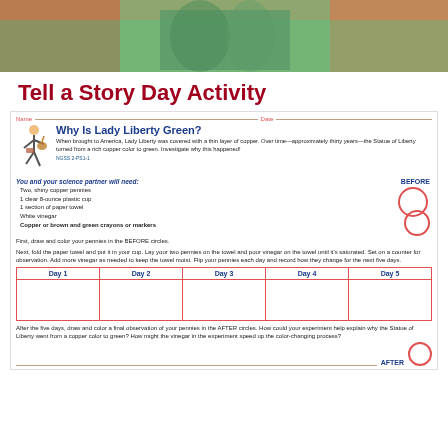[Figure (photo): Photo of a person wearing a green Statue of Liberty costume]
Tell a Story Day Activity
[Figure (illustration): Worksheet titled 'Why Is Lady Liberty Green?' with science experiment instructions, a Before/After observation chart with circles to draw pennies, and a 5-day observation table (Day 1 through Day 5). Includes a mascot illustration of a walking figure with a guitar. Experiment involves copper pennies, vinegar, and paper towel. Lists materials needed and instructions for the experiment.]
Why Is Lady Liberty Green?
When brought to America, Lady Liberty was covered with a thin layer of copper. Over time—approximately thirty years—the Statue of Liberty turned from a rich copper color to green. Investigate why this happened!
You and your science partner will need:
Two, shiny copper pennies
1 clear 8-ounce plastic cup
1 section of paper towel
White vinegar
Copper or brown and green crayons or markers
First, draw and color your pennies in the BEFORE circles.
Next, fold the paper towel and put it in your cup. Lay your two pennies on the towel and pour vinegar on the towel until it's saturated. Set on a counter for observation. Add more vinegar as needed to keep the towel moist. Flip your pennies each day and record how they change for the next five days.
| Day 1 | Day 2 | Day 3 | Day 4 | Day 5 |
| --- | --- | --- | --- | --- |
|  |  |  |  |  |
After the five days, draw and color a final observation of your pennies in the AFTER circles. How could your experiment help explain why the Statue of Liberty went from a copper color to green? How might the vinegar in the experiment speed up the color-changing process?